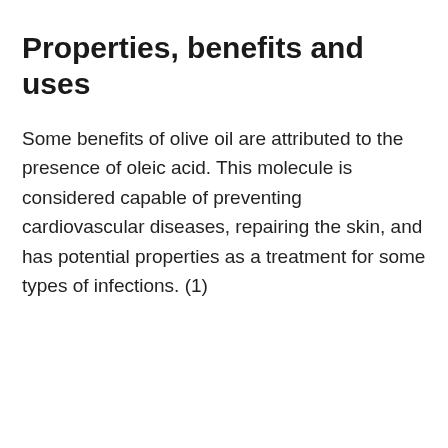Properties, benefits and uses
Some benefits of olive oil are attributed to the presence of oleic acid. This molecule is considered capable of preventing cardiovascular diseases, repairing the skin, and has potential properties as a treatment for some types of infections. (1)